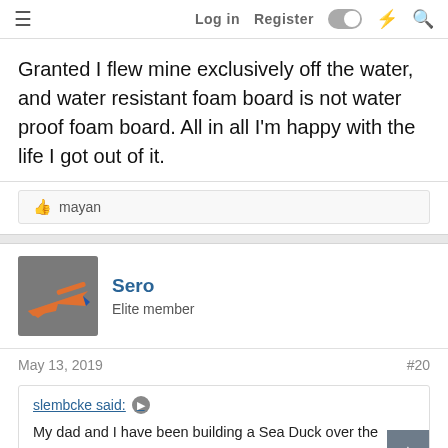≡  Log in  Register
Granted I flew mine exclusively off the water, and water resistant foam board is not water proof foam board. All in all I'm happy with the life I got out of it.
👍 mayan
Sero
Elite member
May 13, 2019   #20
slembcke said: ➤
My dad and I have been building a Sea Duck over the winter, and I've been getting it ready to fly off the water for Memorial Day weekend. We tricked it out with all the bells and whistles for FPV, a return to home capable flight controller.